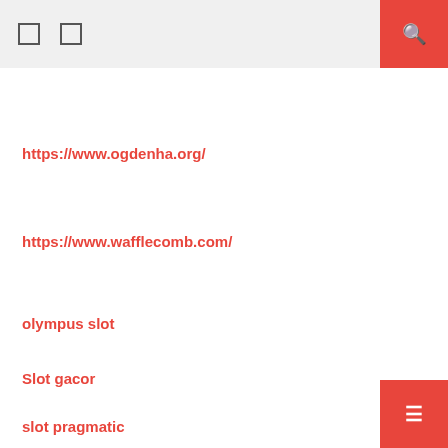https://www.ogdenha.org/
https://www.wafflecomb.com/
olympus slot
Slot gacor
slot pragmatic